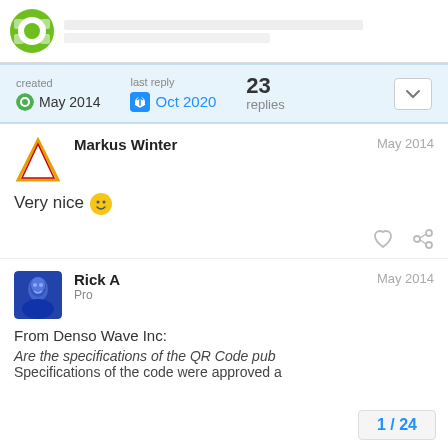Forum header with logo
created May 2014  last reply Oct 2020  23 replies
Markus Winter  May 2014
Very nice 🙂
Rick A  Pro  May 2014
From Denso Wave Inc:
Are the specifications of the QR Code pub
Specifications of the code were approved a
1 / 24